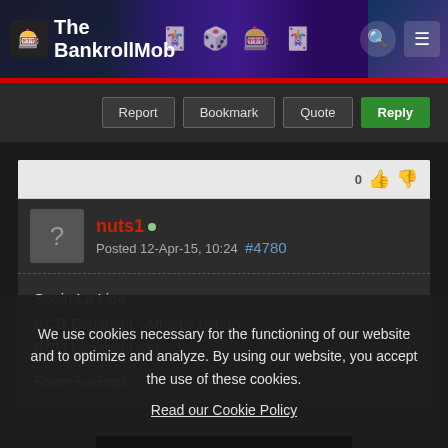The BankrollMob
Report
Bookmark
Quote
Reply
nuts1 • Posted 12-Apr-15, 10:24 #4780
Spain La Liga
RCD Espanyol - Athletic Bilbao
RCD Espanyol win
Spain La Liga
We use cookies necessary for the functioning of our website and to optimize and analyze. By using our website, you accept the use of these cookies.
Read our Cookie Policy
Understood